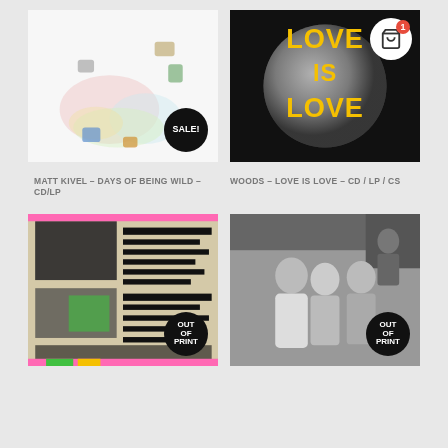[Figure (photo): Album art for Matt Kivel - Days of Being Wild with colorful illustrated characters on white background, SALE! badge]
[Figure (photo): Album art for Woods - Love Is Love, black background with Earth globe and yellow text reading LOVE IS LOVE, shopping cart badge with count 1]
MATT KIVEL – DAYS OF BEING WILD – CD/LP
WOODS – LOVE IS LOVE – CD / LP / CS
[Figure (photo): Album art collage, black and white/sepia punk aesthetic with redacted text blocks, OUT OF PRINT badge]
[Figure (photo): Black and white photo of three women standing together, OUT OF PRINT badge]